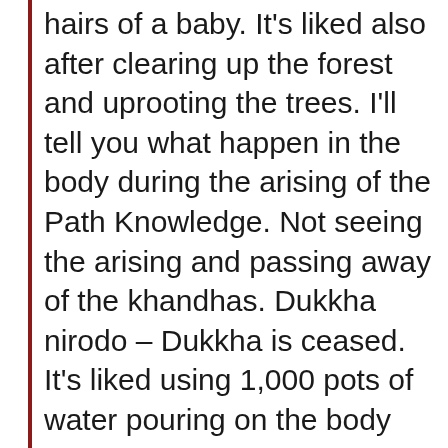hairs of a baby. It's liked also after clearing up the forest and uprooting the trees. I'll tell you what happen in the body during the arising of the Path Knowledge. Not seeing the arising and passing away of the khandhas. Dukkha nirodo – Dukkha is ceased. It's liked using 1,000 pots of water pouring on the body and the heat element is cooling down, experiencing as all the coolness pile-up and a peaceful nature. It seems in this way. Don't know the khandhas exist, only happiness exists. If, it is appearing in this way, the real Path Knowledge is arising, but the...